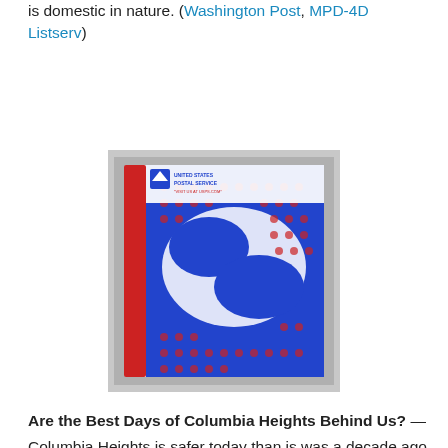is domestic in nature. (Washington Post, MPD-4D Listserv)
[Figure (photo): A USPS Priority Mail envelope/mailer shown face-up, featuring the red, white, and blue Priority Mail design with a large eagle graphic. The left side shows a red vertical stripe with 'PRIORITY' text running vertically, and the upper left shows 'UNITED STATES POSTAL SERVICE' text and the USPS eagle logo.]
Are the Best Days of Columbia Heights Behind Us? —
Columbia Heights is safer today than is was a decade ago